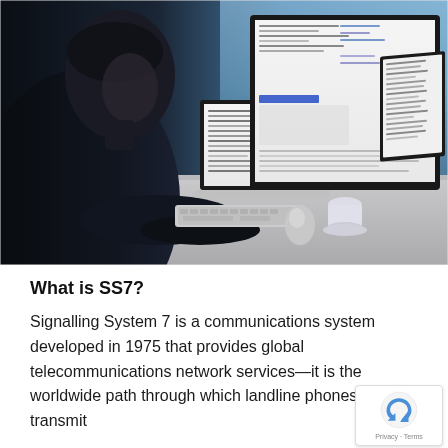[Figure (photo): A man sitting at a desk working on multiple computer screens showing document/text content, with a keyboard, mouse, and coffee cup on the desk. Dark atmospheric lighting with blue tones in the background.]
What is SS7?
Signalling System 7 is a communications system developed in 1975 that provides global telecommunications network services—it is the worldwide path through which landline phones transmit